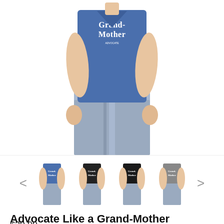[Figure (photo): Main product photo: woman wearing a blue v-neck t-shirt with 'Grand-Mother' text printed on the front, paired with light wash jeans. Cropped to torso.]
[Figure (photo): Thumbnail gallery row with 4 small product images showing the same shirt in different colors (blue, black, black, grey), flanked by left and right navigation arrows.]
Advocate Like a Grand-Mother Women's V-Neck Tee
$29.99